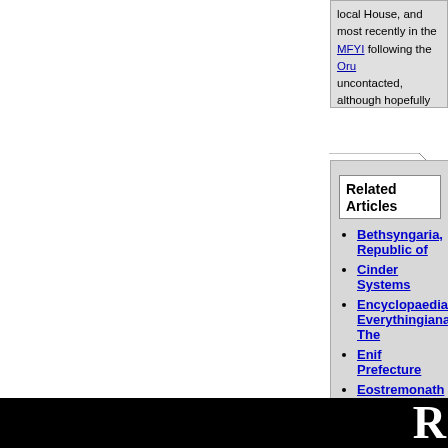local House, and most recently in the MFYI following the Oru... uncontacted, although hopefully this will be remedied within
Related Articles
Bethsyngaria, Republic of
Cinder Systems
Encyclopaedia Everythingiana, The
Enif Prefecture
Eostremonath and the Othelia System
Evanescence
Gammergan
Guanche - a Lost Colony
Morrow and Griqua
Pandya
Rajasekar
Serpens Region
Sinyavskaya
R